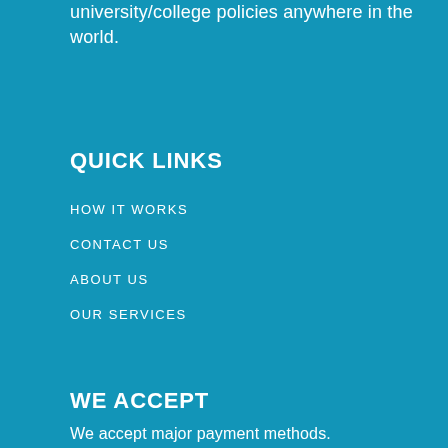university/college policies anywhere in the world.
QUICK LINKS
HOW IT WORKS
CONTACT US
ABOUT US
OUR SERVICES
WE ACCEPT
We accept major payment methods.